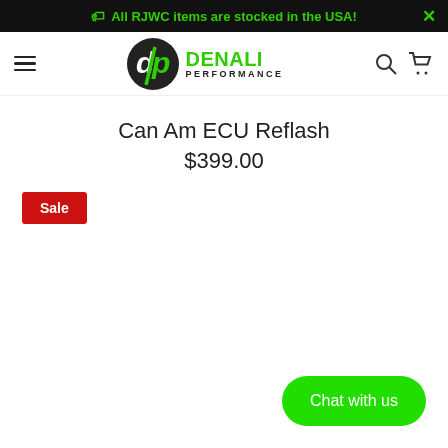All RJWC items are stocked in the USA!
[Figure (logo): Denali Performance logo with circular dp emblem and green DENALI PERFORMANCE text]
Can Am ECU Reflash
$399.00
Sale
Chat with us